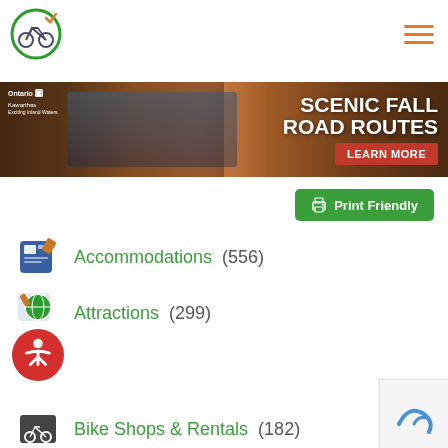[Figure (logo): Bicycle with checkmark logo in green circle]
[Figure (illustration): Hamburger menu icon with orange lines]
[Figure (photo): Banner ad showing family cycling in fall foliage with text SCENIC FALL ROAD ROUTES and LEARN MORE button, Ontario Kawarthas branding]
[Figure (illustration): Print Friendly green button with printer icon]
Accommodations (556)
Attractions (299)
Bike Shops & Rentals (182)